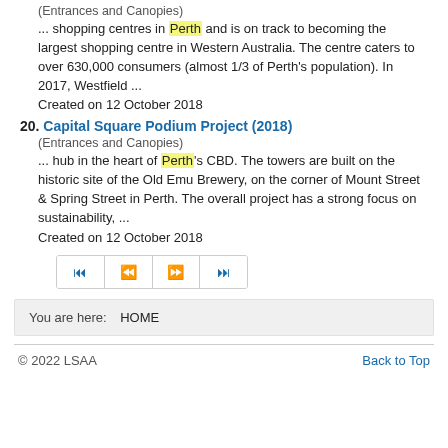(Entrances and Canopies)
... shopping centres in Perth and is on track to becoming the largest shopping centre in Western Australia. The centre caters to over 630,000 consumers (almost 1/3 of Perth's population). In 2017, Westfield ...
Created on 12 October 2018
20. Capital Square Podium Project (2018)
(Entrances and Canopies)
... hub in the heart of Perth's CBD. The towers are built on the historic site of the Old Emu Brewery, on the corner of Mount Street & Spring Street in Perth. The overall project has a strong focus on sustainability, ...
Created on 12 October 2018
[Figure (other): Pagination navigation buttons: first, previous, next, last]
You are here:  HOME
© 2022 LSAA    Back to Top